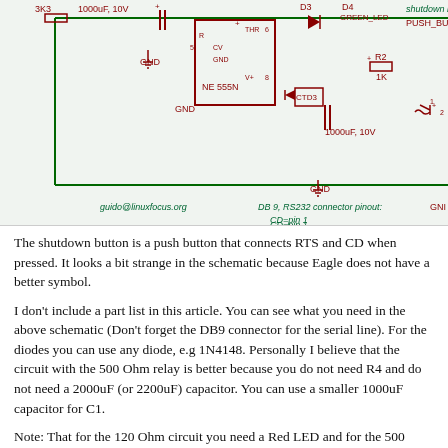[Figure (schematic): Electronic circuit schematic showing NE555N timer IC, capacitors (1000uF 10V), resistors (3K3, 1K), diodes (D3, D4 GREEN_LED), CTD3, R2, push button (PUSH_BU), GND connections, shutdown label, and DB9 RS232 connector pinout legend (CD=pin 1, RTS=pin 7, DTR=pin 4, GND=pin 5). Author: guido@linuxfocus.org]
The shutdown button is a push button that connects RTS and CD when pressed. It looks a bit strange in the schematic because Eagle does not have a better symbol.
I don't include a part list in this article. You can see what you need in the above schematic (Don't forget the DB9 connector for the serial line). For the diodes you can use any diode, e.g 1N4148. Personally I believe that the circuit with the 500 Ohm relay is better because you do not need R4 and do not need a 2000uF (or 2200uF) capacitor. You can use a smaller 1000uF capacitor for C1.
Note: That for the 120 Ohm circuit you need a Red LED and for the 500 Ohm Relay a green LED. This is not joke. The voltage